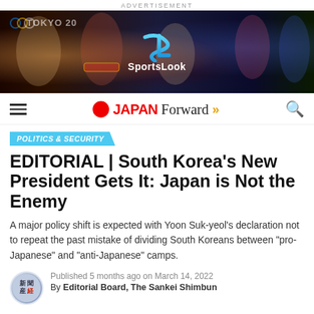ADVERTISEMENT
[Figure (photo): SportsLook advertisement banner featuring Tokyo Olympics athletes including a boxer, sumo wrestler, figure skater, and other Japanese sports athletes with the SportsLook logo in the center]
Japan Forward
POLITICS & SECURITY
EDITORIAL | South Korea's New President Gets It: Japan is Not the Enemy
A major policy shift is expected with Yoon Suk-yeol's declaration not to repeat the past mistake of dividing South Koreans between "pro-Japanese" and "anti-Japanese" camps.
Published 5 months ago on March 14, 2022
By Editorial Board, The Sankei Shimbun